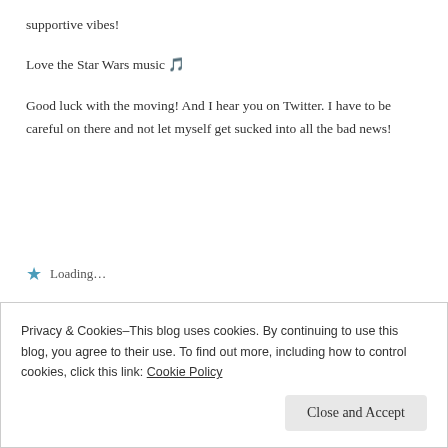supportive vibes!
Love the Star Wars music 🎵
Good luck with the moving! And I hear you on Twitter. I have to be careful on there and not let myself get sucked into all the bad news!
★ Loading…
Reply
Jenni Elyse
May 8, 2022 at 10:53 pm
Privacy & Cookies–This blog uses cookies. By continuing to use this blog, you agree to their use. To find out more, including how to control cookies, click this link: Cookie Policy
Close and Accept